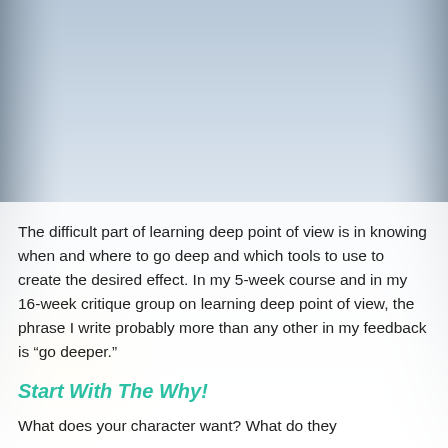[Figure (photo): Background photo of a bright sky with light blue and white tones, architectural elements visible at edges, fading to a white overlay at the bottom]
The difficult part of learning deep point of view is in knowing when and where to go deep and which tools to use to create the desired effect. In my 5-week course and in my 16-week critique group on learning deep point of view, the phrase I write probably more than any other in my feedback is “go deeper.”
Start With The Why!
What does your character want? What do they